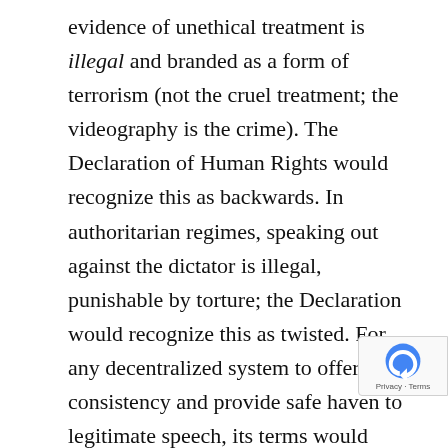evidence of unethical treatment is illegal and branded as a form of terrorism (not the cruel treatment; the videography is the crime). The Declaration of Human Rights would recognize this as backwards. In authoritarian regimes, speaking out against the dictator is illegal, punishable by torture; the Declaration would recognize this as twisted. For any decentralized system to offer consistency and provide safe haven to legitimate speech, its terms would need to be compatible with Universal rights, not tribal or parochial concerns.

Mobilizing forces for good to solve coordination and collective action problems, while robbing evildoers of equivalent advantage, has been impossible until no decentralized, anarchic, fully anonymous systems without identity verification, or course, checking there is